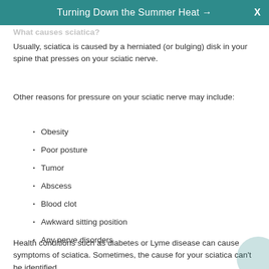Turning Down the Summer Heat →   X
What causes sciatica?
Usually, sciatica is caused by a herniated (or bulging) disk in your spine that presses on your sciatic nerve.
Other reasons for pressure on your sciatic nerve may include:
Obesity
Poor posture
Tumor
Abscess
Blood clot
Awkward sitting position
Any nerve disorders
Health conditions such as diabetes or Lyme disease can cause symptoms of sciatica. Sometimes, the cause for your sciatica can't be identified.
What are the symptoms of sciatica?